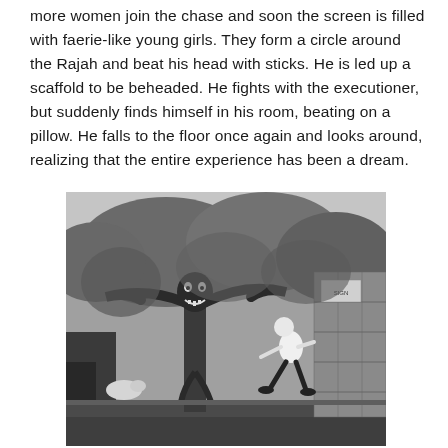more women join the chase and soon the screen is filled with faerie-like young girls. They form a circle around the Rajah and beat his head with sticks. He is led up a scaffold to be beheaded. He fights with the executioner, but suddenly finds himself in his room, beating on a pillow. He falls to the floor once again and looks around, realizing that the entire experience has been a dream.
[Figure (photo): Black and white outdoor photograph showing a stylized tree with a face/mask painted on it, arms stretched wide, and a person appearing to leap or run alongside a stone wall, with trees and foliage in the background.]